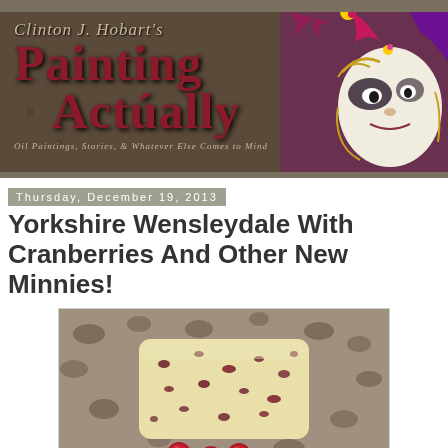[Figure (illustration): Clinton J. Hobart's Painting Actually blog banner with decorative script title, large bold red text reading 'Painting Actually', tagline 'Oil Paintings, Stories, & Whatever Else Comes to Mind', and a jester/carnival mask on the right side against a dark brown background]
Thursday, December 19, 2013
Yorkshire Wensleydale With Cranberries And Other New Minnies!
[Figure (photo): Oil painting miniature of a wedge of Yorkshire Wensleydale cheese with cranberries, displayed against a taupe/brown patterned background with dark oval shapes, with fresh cranberries at the base]